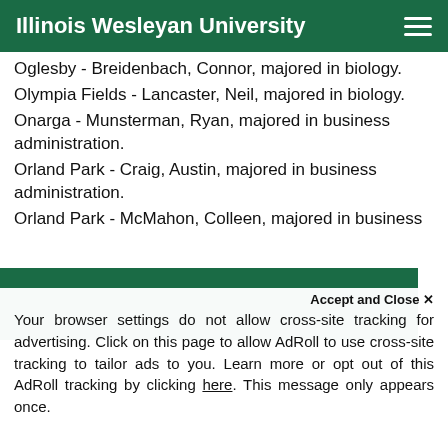Illinois Wesleyan University
Oglesby - Breidenbach, Connor, majored in biology.
Olympia Fields - Lancaster, Neil, majored in biology.
Onarga - Munsterman, Ryan, majored in business administration.
Orland Park - Craig, Austin, majored in business administration.
Orland Park - McMahon, Colleen, majored in business
Your browser settings do not allow cross-site tracking for advertising. Click on this page to allow AdRoll to use cross-site tracking to tailor ads to you. Learn more or opt out of this AdRoll tracking by clicking here. This message only appears once.